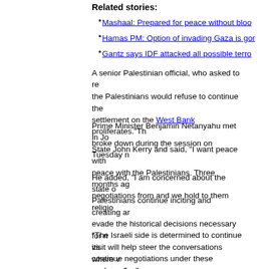Related stories:
Mashaal: Prepared for peace without bloo...
Hamas PM: Option of invading Gaza is gor...
Gantz says IDF attacked all possible terro...
A senior Palestinian official, who asked to rem... the Palestinians would refuse to continue the... settlement on the West Bank proliferates."Th... broke down during the session on Tuesday n...
Prime Minister Benjamin Netanyahu met in J... State John Kerry and said, "I want peace with... peace with the Palestinians. Three months ag... negotiations from and we hold to them religio...
He added, "I am concerned about the state o... Palestinians continue inciting and creating ar... evade the historical decisions necessary for ... visit will help steer the conversations where v... we hope for."
"The Israeli side is determined to continue its... continue negotiations under these unprecede... Palestinian official said after the stormy meet...
[Figure (photo): Bottom image partially visible, appears to be a news photo]